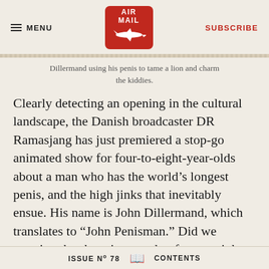MENU | AIR MAIL | SUBSCRIBE
Dillermand using his penis to tame a lion and charm the kiddies.
Clearly detecting an opening in the cultural landscape, the Danish broadcaster DR Ramasjang has just premiered a stop-go animated show for four-to-eight-year-olds about a man who has the world's longest penis, and the high jinks that inevitably ensue. His name is John Dillermand, which translates to “John Penisman.” Did we mention the show is geared to four-to-eight-year-olds? The member in question is not realistically
ISSUE Nº 78   CONTENTS